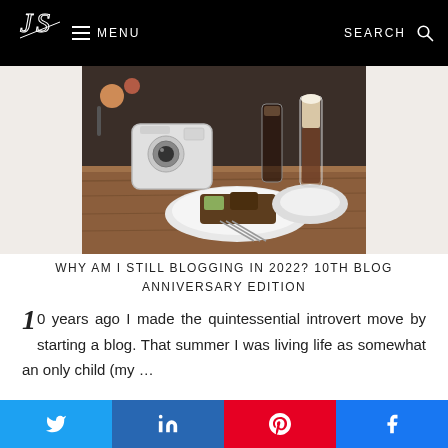JS | MENU | SEARCH
[Figure (photo): A café table with a white Instax mini camera, dessert on a white plate, and beverages including a latte in a tall glass]
WHY AM I STILL BLOGGING IN 2022? 10TH BLOG ANNIVERSARY EDITION
10 years ago I made the quintessential introvert move by starting a blog. That summer I was living life as somewhat an only child (my ...